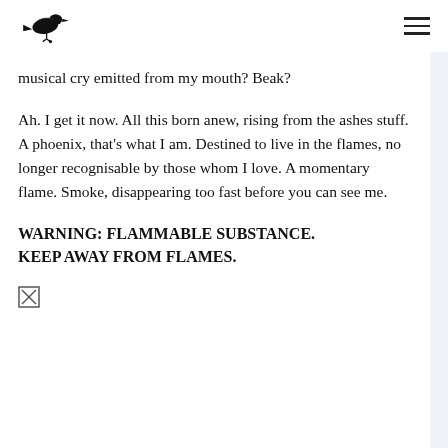[crow logo] [hamburger menu]
musical cry emitted from my mouth? Beak?
Ah. I get it now. All this born anew, rising from the ashes stuff. A phoenix, that's what I am. Destined to live in the flames, no longer recognisable by those whom I love. A momentary flame. Smoke, disappearing too fast before you can see me.
WARNING: FLAMMABLE SUBSTANCE. KEEP AWAY FROM FLAMES.
[Figure (other): Small square icon with an X mark inside]